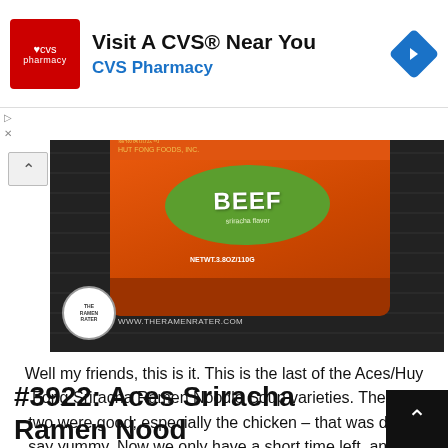[Figure (infographic): CVS Pharmacy advertisement banner with CVS logo, text 'Visit A CVS® Near You' and 'CVS Pharmacy', and a blue navigation arrow icon]
[Figure (photo): Photo of an Aces/Huy Fong Sriracha Ramen Noodle Soup Beef flavor cup with orange packaging and green label showing 'BEEF', on a dark background. The Ramen Rater logo and website www.theramenrater.com visible.]
Well my friends, this is it. This is the last of the Aces/Huy Fong Sriracha Ramen Noodle Soup varieties. The first two were good; especially the chicken – that was dare I say yummy. Now we only have a short time left, and it's with beef. Let's savor it. Here we go.....see full post
#3922: Aces Sriracha Ramen Noodle Soup Chicken – United States